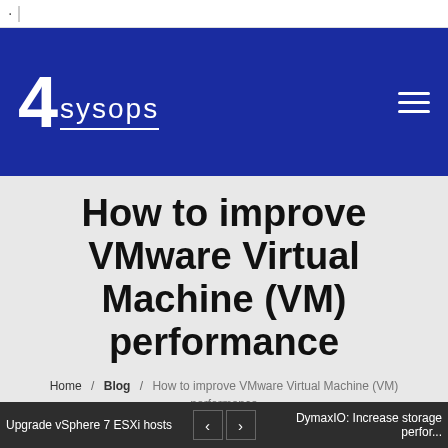[Figure (logo): 4sysops logo on dark blue navigation header with hamburger menu icon]
How to improve VMware Virtual Machine (VM) performance
Home / Blog / How to improve VMware Virtual Machine (VM) performance
4sysops - The online community for SysAdmins and DevOps
Upgrade vSphere 7 ESXi hosts   <   >   DymaxIO: Increase storage perfor...